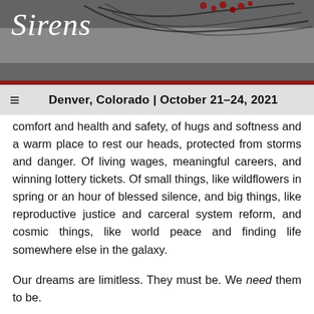Sirens — Denver, Colorado | October 21–24, 2021
comfort and health and safety, of hugs and softness and a warm place to rest our heads, protected from storms and danger. Of living wages, meaningful careers, and winning lottery tickets. Of small things, like wildflowers in spring or an hour of blessed silence, and big things, like reproductive justice and carceral system reform, and cosmic things, like world peace and finding life somewhere else in the galaxy.
Our dreams are limitless. They must be. We need them to be.
We need hope.